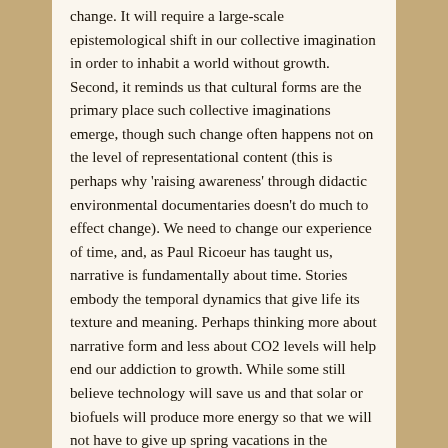change. It will require a large-scale epistemological shift in our collective imagination in order to inhabit a world without growth. Second, it reminds us that cultural forms are the primary place such collective imaginations emerge, though such change often happens not on the level of representational content (this is perhaps why 'raising awareness' through didactic environmental documentaries doesn't do much to effect change). We need to change our experience of time, and, as Paul Ricoeur has taught us, narrative is fundamentally about time. Stories embody the temporal dynamics that give life its texture and meaning. Perhaps thinking more about narrative form and less about CO2 levels will help end our addiction to growth. While some still believe technology will save us and that solar or biofuels will produce more energy so that we will not have to give up spring vacations in the Caribbean or 2,000 square foot houses, many others are now wondering if we